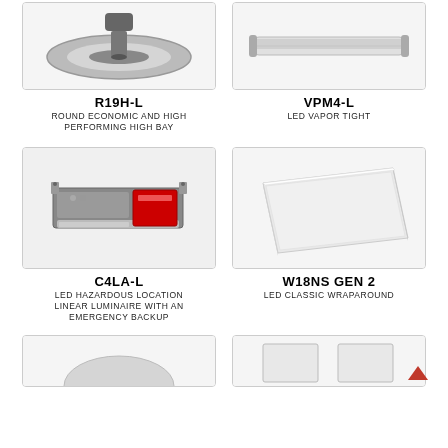[Figure (photo): R19H-L round high bay fixture viewed from below, partial top crop]
R19H-L
ROUND ECONOMIC AND HIGH PERFORMING HIGH BAY
[Figure (photo): VPM4-L LED vapor tight fixture, angled view, partial top crop]
VPM4-L
LED VAPOR TIGHT
[Figure (photo): C4LA-L LED hazardous location linear luminaire with red emergency backup unit]
C4LA-L
LED HAZARDOUS LOCATION LINEAR LUMINAIRE WITH AN EMERGENCY BACKUP
[Figure (photo): W18NS GEN 2 LED classic wraparound fixture, white, angled perspective]
W18NS GEN 2
LED CLASSIC WRAPAROUND
[Figure (photo): Partial bottom row product image left, cropped]
[Figure (photo): Partial bottom row product image right, cropped]